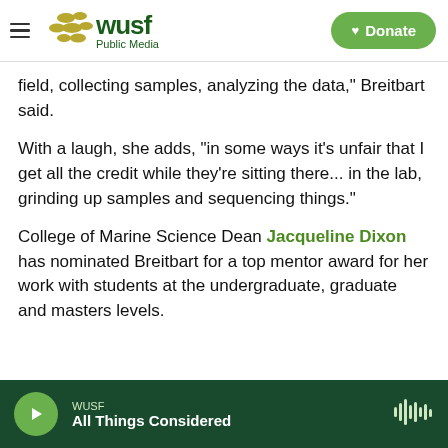WUSF Public Media — Donate
field, collecting samples, analyzing the data," Breitbart said.
With a laugh, she adds, "in some ways it's unfair that I get all the credit while they're sitting there... in the lab, grinding up samples and sequencing things."
College of Marine Science Dean Jacqueline Dixon has nominated Breitbart for a top mentor award for her work with students at the undergraduate, graduate and masters levels.
WUSF — All Things Considered